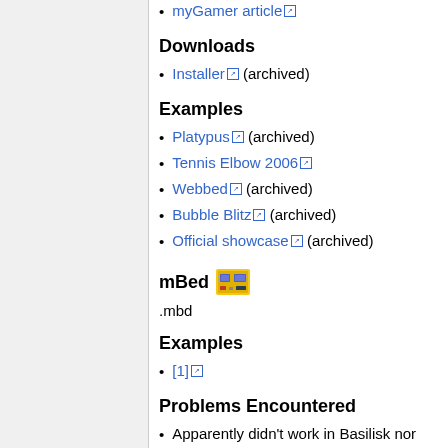myGamer article (archived)
Downloads
Installer (archived)
Examples
Platypus (archived)
Tennis Elbow 2006
Webbed (archived)
Bubble Blitz (archived)
Official showcase (archived)
mBed
.mbd
Examples
[1]
Problems Encountered
Apparently didn't work in Basilisk nor Netscape; possibly missing DLLs?